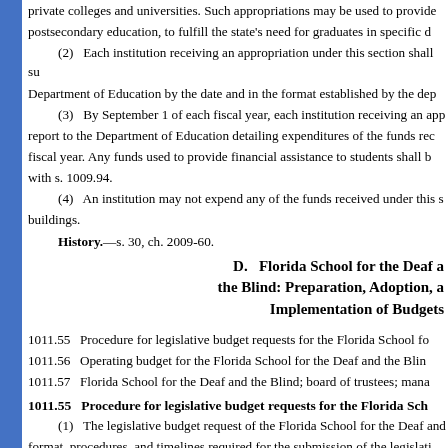private colleges and universities. Such appropriations may be used to provide postsecondary education, to fulfill the state's need for graduates in specific d
(2) Each institution receiving an appropriation under this section shall su Department of Education by the date and in the format established by the dep
(3) By September 1 of each fiscal year, each institution receiving an app report to the Department of Education detailing expenditures of the funds rec fiscal year. Any funds used to provide financial assistance to students shall b with s. 1009.94.
(4) An institution may not expend any of the funds received under this s buildings.
History.—s. 30, ch. 2009-60.
D. Florida School for the Deaf a the Blind: Preparation, Adoption, a Implementation of Budgets
1011.55  Procedure for legislative budget requests for the Florida School fo
1011.56  Operating budget for the Florida School for the Deaf and the Blin
1011.57  Florida School for the Deaf and the Blind; board of trustees; mana
1011.55  Procedure for legislative budget requests for the Florida Sch
(1) The legislative budget request of the Florida School for the Deaf and format, procedures, and timelines required for the submission of the legislati The Florida School for the Deaf and the Blind shall submit its legislative buc